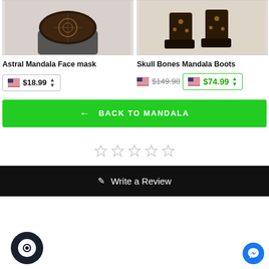[Figure (photo): Product photo of Astral Mandala Face mask - woman wearing decorative face mask]
[Figure (photo): Product photo of Skull Bones Mandala Boots - decorative boots with skull design]
Astral Mandala Face mask
$18.99
Skull Bones Mandala Boots
$149.98 (strikethrough) $74.99
← BACK TO MANDALA
[Figure (other): Five empty star rating icons]
✎ Write a Review